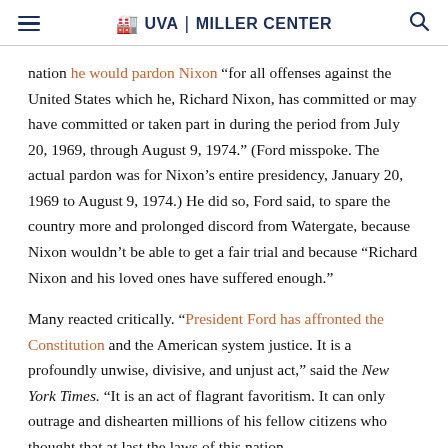UVA | MILLER CENTER
nation he would pardon Nixon “for all offenses against the United States which he, Richard Nixon, has committed or may have committed or taken part in during the period from July 20, 1969, through August 9, 1974.” (Ford misspoke. The actual pardon was for Nixon’s entire presidency, January 20, 1969 to August 9, 1974.) He did so, Ford said, to spare the country more and prolonged discord from Watergate, because Nixon wouldn’t be able to get a fair trial and because “Richard Nixon and his loved ones have suffered enough.”
Many reacted critically. “President Ford has affronted the Constitution and the American system justice. It is a profoundly unwise, divisive, and unjust act,” said the New York Times. “It is an act of flagrant favoritism. It can only outrage and dishearten millions of his fellow citizens who thought that at last the laws of this nation